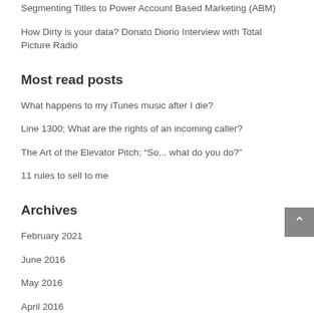Segmenting Titles to Power Account Based Marketing (ABM)
How Dirty is your data? Donato Diorio Interview with Total Picture Radio
Most read posts
What happens to my iTunes music after I die?
Line 1300; What are the rights of an incoming caller?
The Art of the Elevator Pitch; “So... what do you do?”
11 rules to sell to me
Archives
February 2021
June 2016
May 2016
April 2016